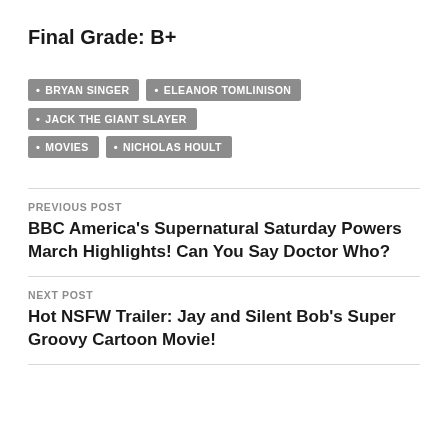Final Grade: B+
BRYAN SINGER
ELEANOR TOMLINISON
JACK THE GIANT SLAYER
MOVIES
NICHOLAS HOULT
PREVIOUS POST
BBC America's Supernatural Saturday Powers March Highlights! Can You Say Doctor Who?
NEXT POST
Hot NSFW Trailer: Jay and Silent Bob's Super Groovy Cartoon Movie!